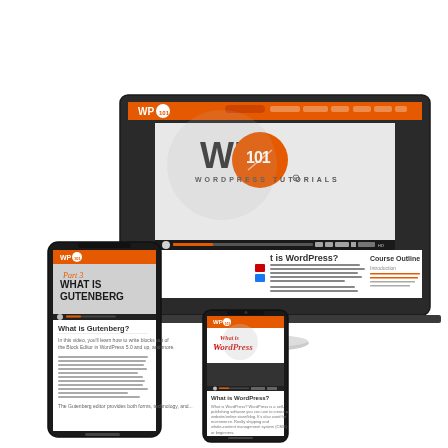[Figure (screenshot): Marketing image showing WP101 WordPress Tutorials website displayed on multiple devices: a desktop iMac monitor showing the WP101 logo on a video player with orange navigation bar, a tablet/phone showing 'Part 3 WHAT IS GUTENBERG?' lesson page, and a smartphone showing 'What is WordPress?' lesson page. The WP101 branding features an orange and black color scheme. The devices are arranged on a white background.]